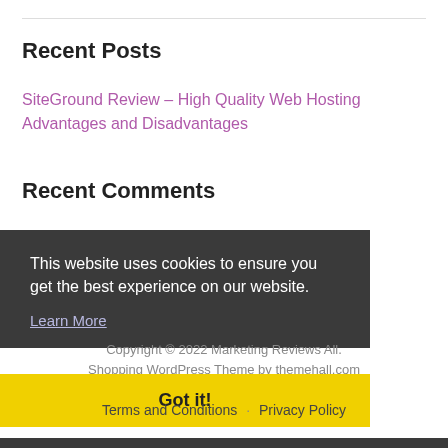Recent Posts
SiteGround Review – High Quality Web Hosting Advantages and Disadvantages
Recent Comments
This website uses cookies to ensure you get the best experience on our website.
Learn More
Copyright © 2022 Marketing Reviews All.
Shopping WordPress Theme by themehall.com
Got it!
Terms and Conditions · Privacy Policy